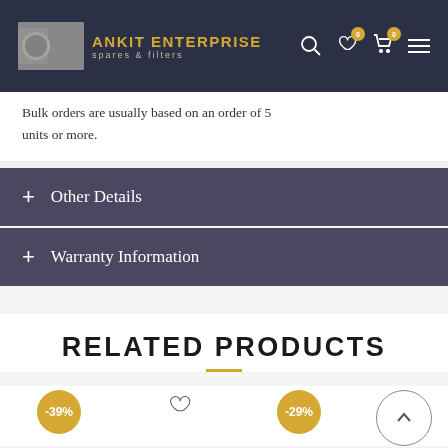ANKIT ENTERPRISE spares & filters
Bulk orders are usually based on an order of 5 units or more.
+ Other Details
+ Warranty Information
RELATED PRODUCTS
-39%
-29%